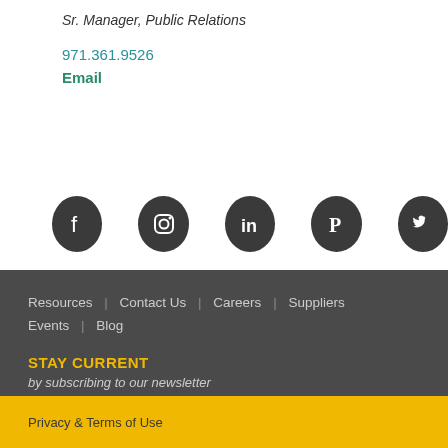Sr. Manager, Public Relations
971.361.9526
Email
[Figure (infographic): Five circular dark social media icons in a row: Facebook, Instagram, LinkedIn, Pinterest, Twitter]
Resources | Contact Us | Careers | Suppliers | Events | Blog
STAY CURRENT
by subscribing to our newsletter
SIGN ME UP
Privacy & Terms of Use